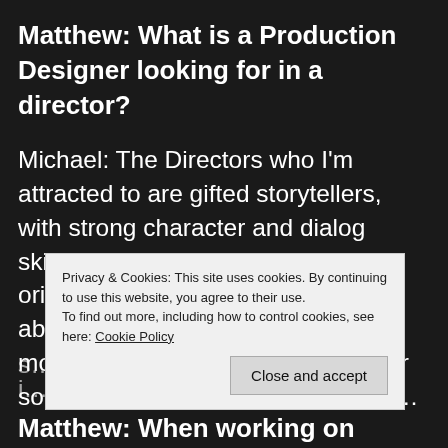Matthew: What is a Production Designer looking for in a director?
Michael: The Directors who I'm attracted to are gifted storytellers, with strong character and dialog skills.  Because of their storytelling orientation, they are enthusiastic about making the visuals work in a more orchestral way.  I'm looking for someone who is full of ideas, and t… s… i…
Privacy & Cookies: This site uses cookies. By continuing to use this website, you agree to their use.
To find out more, including how to control cookies, see here: Cookie Policy
Matthew: When working on comedies, are